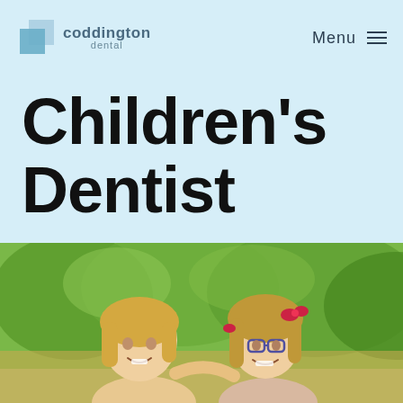[Figure (logo): Coddington Dental logo with blue squares and text]
Menu ≡
Children's Dentist
[Figure (photo): Two young blonde girls smiling outdoors with green foliage background. One girl is wearing glasses and has red hair accessories.]